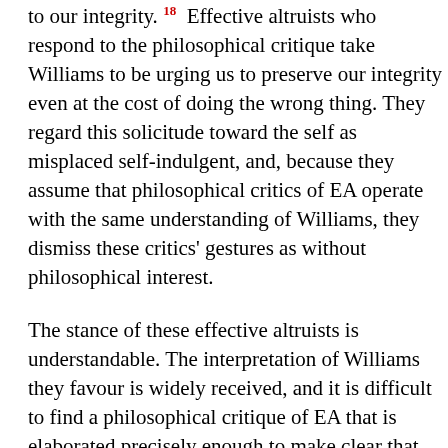to our integrity. 18 Effective altruists who respond to the philosophical critique take Williams to be urging us to preserve our integrity even at the cost of doing the wrong thing. They regard this solicitude toward the self as misplaced self-indulgent, and, because they assume that philosophical critics of EA operate with the same understanding of Williams, they dismiss these critics' gestures as without philosophical interest.
The stance of these effective altruists is understandable. The interpretation of Williams they favour is widely received, and it is difficult to find a philosophical critique of EA that is elaborated precisely enough to make clear that this take on Williams is inaccurate. At the same time, this is a major missed opportunity for critical reflection. It is not difficult to develop philosophical critics' worries about a god's eye morality